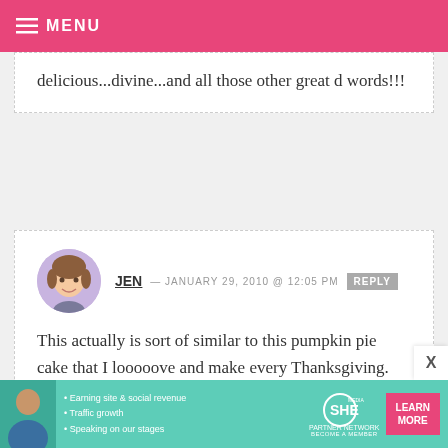MENU
delicious...divine...and all those other great d words!!!
JEN — JANUARY 29, 2010 @ 12:05 PM  REPLY
This actually is sort of similar to this pumpkin pie cake that I looooove and make every Thanksgiving. The yellow cake and butter on top is really what makes it sooooo delicious!
[Figure (photo): Advertisement banner for SHE Partner Network with bullet points: Earning site & social revenue, Traffic growth, Speaking on our stages, and a LEARN MORE button]